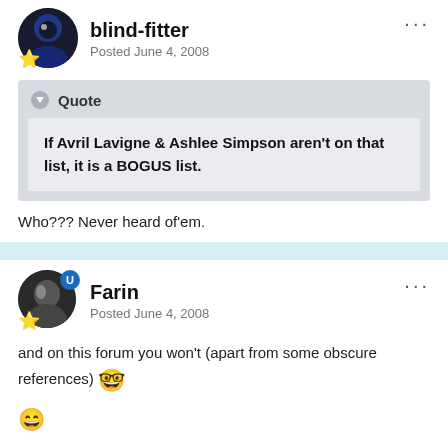blind-fitter
Posted June 4, 2008
Quote
If Avril Lavigne & Ashlee Simpson aren't on that list, it is a BOGUS list.
Who??? Never heard of'em.
Farin
Posted June 4, 2008
and on this forum you won't (apart from some obscure references)